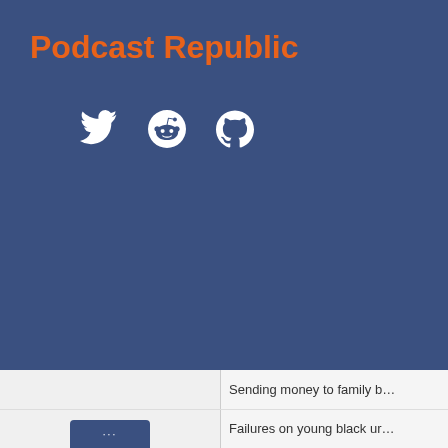Podcast Republic
[Figure (illustration): Social media icons: Twitter bird, Reddit alien, GitHub octocat — white icons on blue background]
Sending money to family b…
Failures on young black ur…